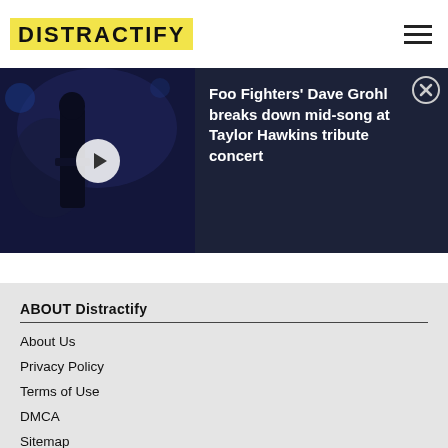DISTRACTIFY
[Figure (screenshot): Video thumbnail showing a dark-haired performer on stage with a play button overlay, alongside text about Foo Fighters' Dave Grohl breaking down mid-song at Taylor Hawkins tribute concert, with a close button]
Foo Fighters' Dave Grohl breaks down mid-song at Taylor Hawkins tribute concert
ABOUT Distractify
About Us
Privacy Policy
Terms of Use
DMCA
Sitemap
CONNECT with Distractify